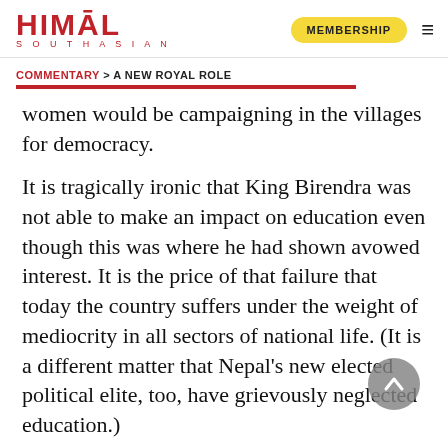HIMAL SOUTHASIAN | MEMBERSHIP
COMMENTARY > A NEW ROYAL ROLE
women would be campaigning in the villages for democracy.
It is tragically ironic that King Birendra was not able to make an impact on education even though this was where he had shown avowed interest. It is the price of that failure that today the country suffers under the weight of mediocrity in all sectors of national life. (It is a different matter that Nepal's new elected political elite, too, have grievously neglected education.)